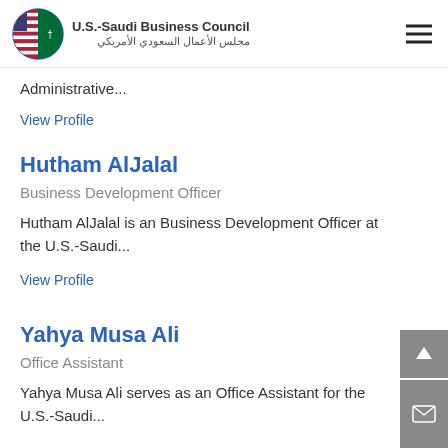U.S.-Saudi Business Council مجلس الأعمال السعودي الأمريكي
Administrative...
View Profile
Hutham AlJalal
Business Development Officer
Hutham AlJalal is an Business Development Officer at the U.S.-Saudi...
View Profile
Yahya Musa Ali
Office Assistant
Yahya Musa Ali serves as an Office Assistant for the U.S.-Saudi...